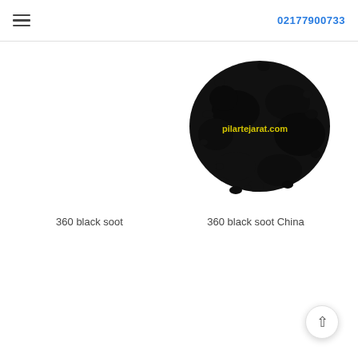≡  02177900733
[Figure (photo): Photograph of black soot powder (carbon black) pile on white background with watermark 'pilartejarat.com']
360 black soot China
360 black soot